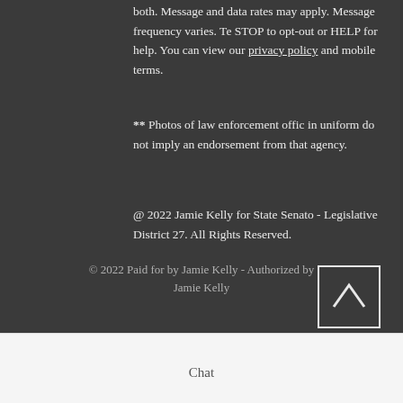both. Message and data rates may apply. Message frequency varies. Text STOP to opt-out or HELP for help. You can view our privacy policy and mobile terms.
** Photos of law enforcement officers in uniform do not imply an endorsement from that agency.
@ 2022 Jamie Kelly for State Senate - Legislative District 27. All Rights Reserved.
© 2022 Paid for by Jamie Kelly - Authorized by Jamie Kelly
Chat